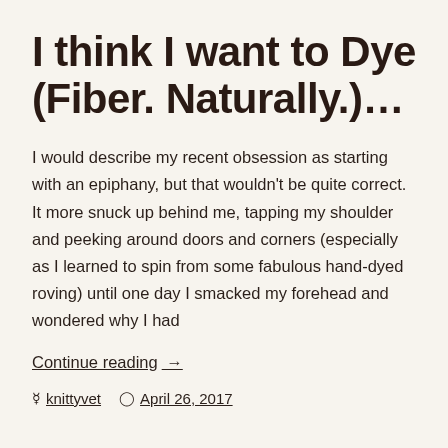I think I want to Dye (Fiber. Naturally.)...
I would describe my recent obsession as starting with an epiphany, but that wouldn't be quite correct. It more snuck up behind me, tapping my shoulder and peeking around doors and corners (especially as I learned to spin from some fabulous hand-dyed roving) until one day I smacked my forehead and wondered why I had
Continue reading  →
knittyvet   April 26, 2017